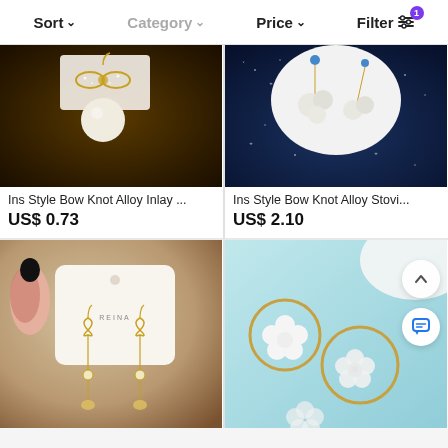Sort  Category  Price  Filter
[Figure (photo): Gold bow knot alloy earrings with large pearl drop on dark brown background]
Ins Style Bow Knot Alloy Inlay ...
US$ 0.73
[Figure (photo): White pearl cluster earrings with blue bead accents on dark navy star background]
Ins Style Bow Knot Alloy Stovi...
US$ 2.10
[Figure (photo): Gold bow knot dangling earrings with heart drops on REINA card, held by hand with red nails]
[Figure (photo): Gold hoop earrings with white flower accent on light blue background, with scroll-up and chat FAB buttons]